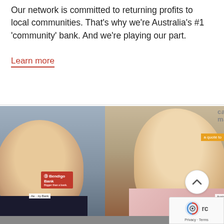Our network is committed to returning profits to local communities. That's why we're Australia's #1 'community' bank. And we're playing our part.
Learn more
[Figure (photo): Photo collage showing two smiling young women, Bendigo Bank signage, and a group of people at a community event. A 'can matter' text overlay appears at the top and an 'a quote to' overlay on the right.]
Australia's leading scholarship